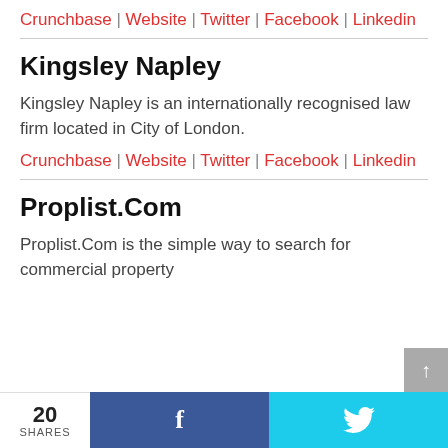Crunchbase | Website | Twitter | Facebook | Linkedin
Kingsley Napley
Kingsley Napley is an internationally recognised law firm located in City of London.
Crunchbase | Website | Twitter | Facebook | Linkedin
Proplist.Com
Proplist.Com is the simple way to search for commercial property
20 SHARES | f | bird-icon